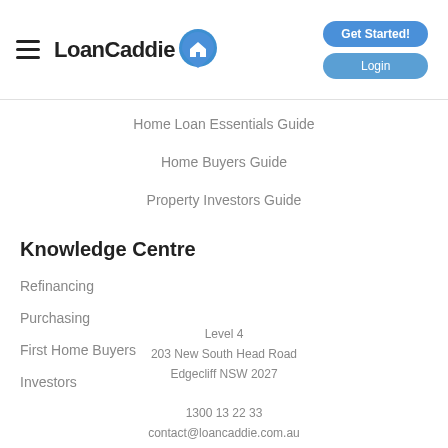LoanCaddie | Get Started! | Login
Home Loan Essentials Guide
Home Buyers Guide
Property Investors Guide
Knowledge Centre
Refinancing
Purchasing
First Home Buyers
Investors
Level 4
203 New South Head Road
Edgecliff NSW 2027
1300 13 22 33
contact@loancaddie.com.au